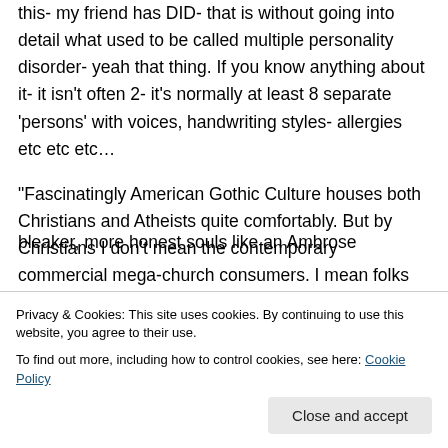this- my friend has DID- that is without going into detail what used to be called multiple personality disorder- yeah that thing. If you know anything about it- it isn't often 2- it's normally at least 8 separate 'persons' with voices, handwriting styles- allergies etc etc etc…
“Fascinatingly American Gothic Culture houses both Christians and Atheists quite comfortably. But by Christians I don't mean the contemporary commercial mega-church consumers. I mean folks like Johnny Cash, Flannery O'Connor,
Privacy & Cookies: This site uses cookies. By continuing to use this website, you agree to their use.
To find out more, including how to control cookies, see here: Cookie Policy
bleaker, more honest souls like an Ambrose